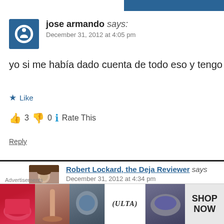jose armando says:
December 31, 2012 at 4:05 pm
yo si me había dado cuenta de todo eso y tengo 12 años
Like
👍 3 👎 0 ℹ Rate This
Reply
Robert Lockard, the Deja Reviewer says
December 31, 2012 at 4:34 pm
Que bueno! Tu eres muy inteligente. C
Advertisements